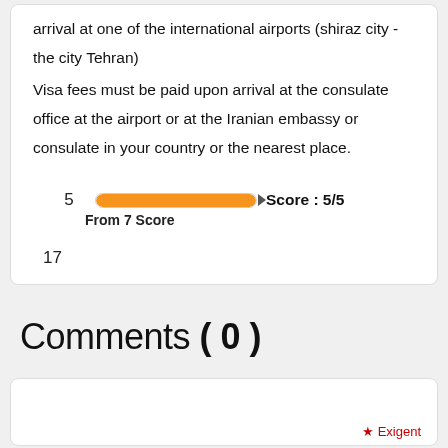arrival at one of the international airports (shiraz city - the city Tehran)
Visa fees must be paid upon arrival at the consulate office at the airport or at the Iranian embassy or consulate in your country or the nearest place.
5   Score : 5/5
From 7 Score
17
Comments ( 0 )
* Exigent